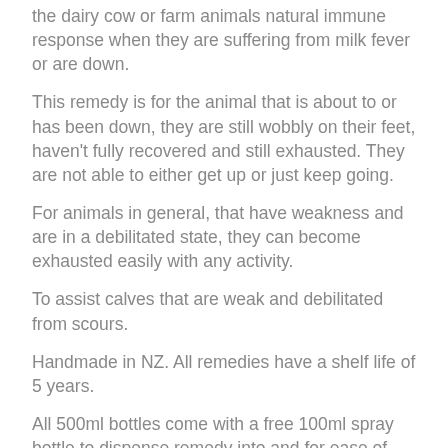the dairy cow or farm animals natural immune response when they are suffering from milk fever or are down.
This remedy is for the animal that is about to or has been down, they are still wobbly on their feet, haven't fully recovered and still exhausted. They are not able to either get up or just keep going.
For animals in general, that have weakness and are in a debilitated state, they can become exhausted easily with any activity.
To assist calves that are weak and debilitated from scours.
Handmade in NZ.  All remedies have a shelf life of 5 years.
All 500ml bottles come with a free 100ml spray bottle to dispense remedy into and for ease of